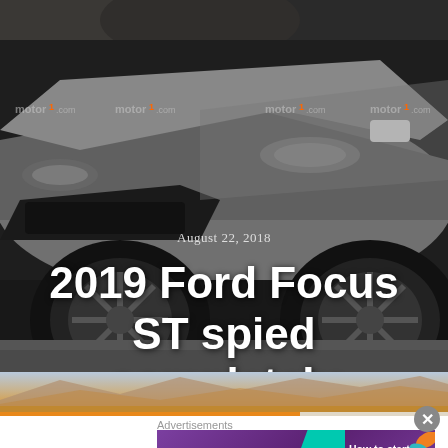[Figure (photo): A grey 2019 Ford Focus ST car photographed from the front-left angle, showing the aggressive front bumper, headlights, and alloy wheel. A watermark reading 'motor1.com' repeats across the image.]
August 22, 2018
2019 Ford Focus ST spied completely undisguised
[Figure (photo): A desert landscape scene with mountains in the background, orange/tan sand and terrain in the foreground, with a progress bar across the bottom.]
Advertisements
[Figure (other): WooCommerce advertisement banner with purple background, teal arrow, and text reading 'How to start selling subscriptions online']